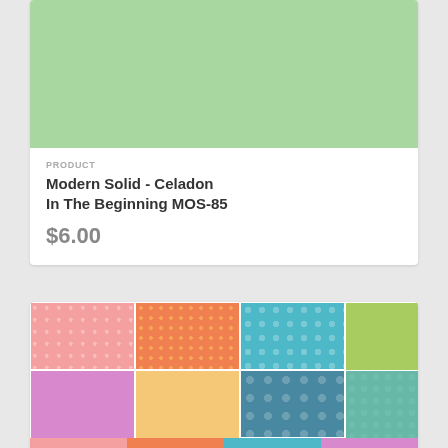[Figure (photo): Light green solid fabric swatch — celadon colored textile]
PRODUCT
Modern Solid - Celadon
In The Beginning MOS-85
$6.00
[Figure (photo): Meadow Dance fabric strip pack product image showing a grid of colorful patterned fabric swatches in pink, orange, teal, purple, yellow, green colors, with a label showing strips icon and 'Meadow Dance 40 2-1/2 Strips']
Meadow Dance
40 2-1/2" Strips